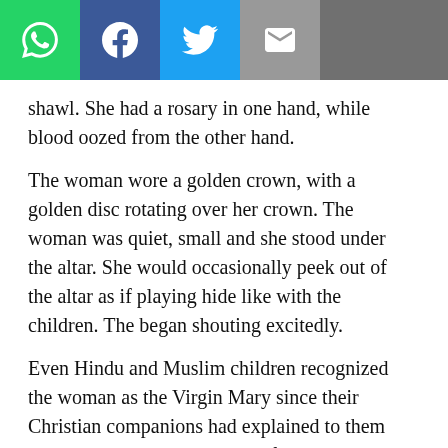[Figure (screenshot): Social media sharing toolbar with WhatsApp (green), Facebook (blue), Twitter (blue), Email (grey), and a share button on grey background]
shawl. She had a rosary in one hand, while blood oozed from the other hand.
The woman wore a golden crown, with a golden disc rotating over her crown. The woman was quiet, small and she stood under the altar. She would occasionally peek out of the altar as if playing hide like with the children. The began shouting excitedly.
Even Hindu and Muslim children recognized the woman as the Virgin Mary since their Christian companions had explained to them about Christ, Mary and saint after the September 23 incident.
Continue reading for additional impressions